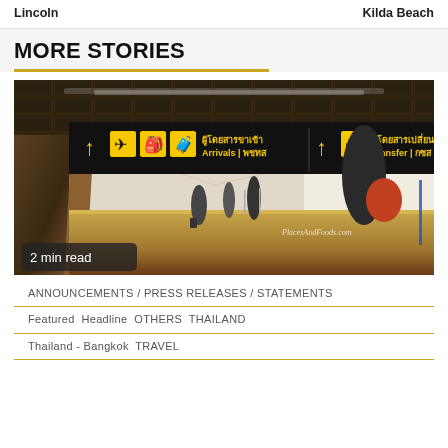Lincoln    Kilda Beach
MORE STORIES
[Figure (photo): Interior of a Thai airport terminal showing directional signage with arrows for Arrivals and Transfer, with travelers walking on a wooden floor. Watermark: PlacesAndFoods.com. Badge: 2 min read.]
ANNOUNCEMENTS / PRESS RELEASES / STATEMENTS
Featured  Headline  OTHERS  THAILAND
Thailand - Bangkok  TRAVEL